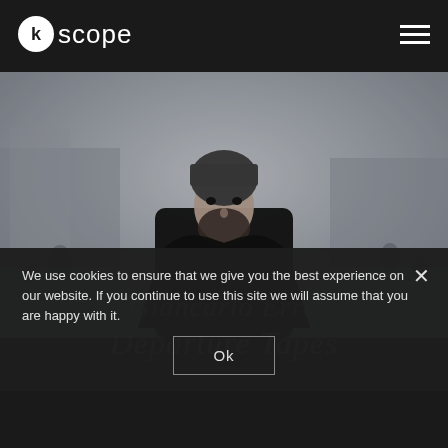[Figure (logo): Kscope music label logo: white circle with 'k' inside, followed by 'scope' in white text on dark background]
[Figure (photo): Black and white photo of a bearded man with dark knit cap and dark coat standing in an open city square in winter]
Giancarlo Erra Departure Tapes
We use cookies to ensure that we give you the best experience on our website. If you continue to use this site we will assume that you are happy with it.
Ok